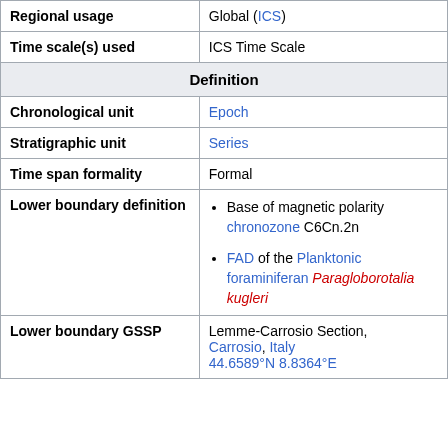| Regional usage | Global (ICS) |
| Time scale(s) used | ICS Time Scale |
| Definition |  |
| Chronological unit | Epoch |
| Stratigraphic unit | Series |
| Time span formality | Formal |
| Lower boundary definition | • Base of magnetic polarity chronozone C6Cn.2n
• FAD of the Planktonic foraminiferan Paragloborotalia kugleri |
| Lower boundary GSSP | Lemme-Carrosio Section, Carrosio, Italy
44.6589°N 8.8364°E |